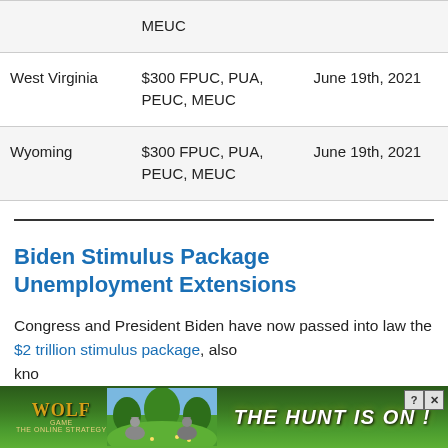| State | Benefits Ended | End Date |
| --- | --- | --- |
|  | MEUC |  |
| West Virginia | $300 FPUC, PUA, PEUC, MEUC | June 19th, 2021 |
| Wyoming | $300 FPUC, PUA, PEUC, MEUC | June 19th, 2021 |
Biden Stimulus Package Unemployment Extensions
Congress and President Biden have now passed into law the $2 trillion stimulus package, also kno…
[Figure (photo): Advertisement banner for Wolf Game: The Hunt Is On mobile game, showing wolves in a meadow with gold and white text on green background.]